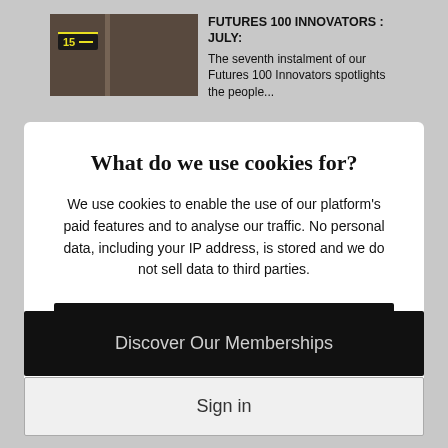[Figure (photo): Magazine cover thumbnail showing a person with braids, with a yellow badge number 15]
FUTURES 100 INNOVATORS : JULY: The seventh instalment of our Futures 100 Innovators spotlights the people...
What do we use cookies for?
We use cookies to enable the use of our platform's paid features and to analyse our traffic. No personal data, including your IP address, is stored and we do not sell data to third parties.
GOT IT!
Learn more
Discover Our Memberships
Sign in